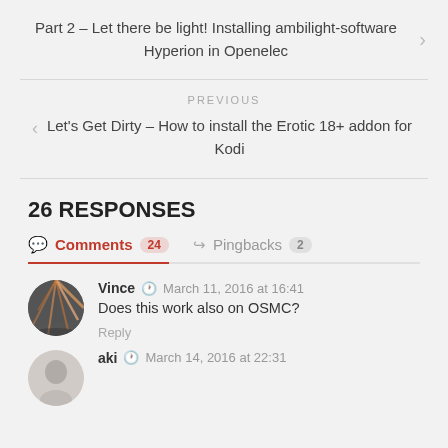Part 2 – Let there be light! Installing ambilight-software Hyperion in Openelec
PREVIOUS
< Let's Get Dirty – How to install the Erotic 18+ addon for Kodi
26 RESPONSES
Comments 24   Pingbacks 2
Vince  March 11, 2016 at 16:41
Does this work also on OSMC?
Reply
aki  March 14, 2016 at 22:31